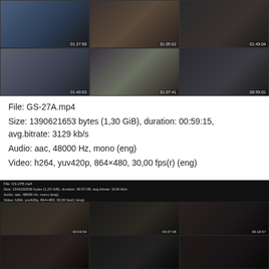[Figure (screenshot): Video thumbnail grid for GS-27A.mp4, 2 rows of 3 thumbnails with timestamps]
File: GS-27A.mp4
Size: 1390621653 bytes (1,30 GiB), duration: 00:59:15, avg.bitrate: 3129 kb/s
Audio: aac, 48000 Hz, mono (eng)
Video: h264, yuv420p, 864×480, 30,00 fps(r) (eng)
[Figure (screenshot): Video thumbnail grid for GS-27B.mp4 with file info overlay, 2 rows of 3 thumbnails with timestamps]